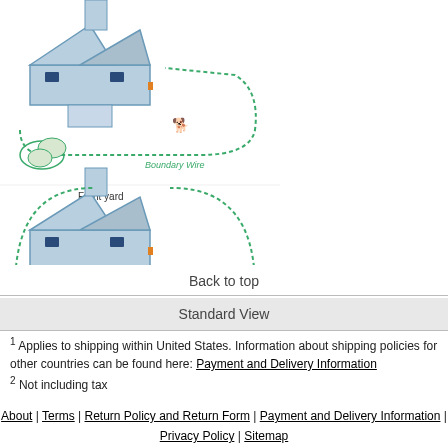[Figure (illustration): Two diagrams of a house with boundary wire layout. Top diagram shows a house with a boundary wire loop extending outward with a dog icon. Bottom diagram shows 'Front yard' label, a house with boundary wire forming a full enclosure around it, 'Backyard' label inside the enclosure, and a dog icon inside.]
Back to top
Standard View
1 Applies to shipping within United States. Information about shipping policies for other countries can be found here: Payment and Delivery Information
2 Not including tax
About | Terms | Return Policy and Return Form | Payment and Delivery Information | Privacy Policy | Sitemap